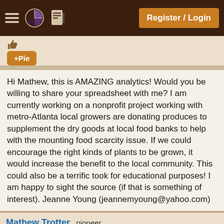Register / Login
[Figure (screenshot): Thumbs up icon (partial, top of comment)]
+Pie
Hi Mathew, this is AMAZING analytics! Would you be willing to share your spreadsheet with me? I am currently working on a nonprofit project working with metro-Atlanta local growers are donating produces to supplement the dry goods at local food banks to help with the mounting food scarcity issue. If we could encourage the right kinds of plants to be grown, it would increase the benefit to the local community. This could also be a terrific took for educational purposes! I am happy to sight the source (if that is something of interest). Jeanne Young (jeannemyoung@yahoo.com)
Mathew Trotter , pioneer
Nov 29, 2020 06:08:06
1
reply
+Pi